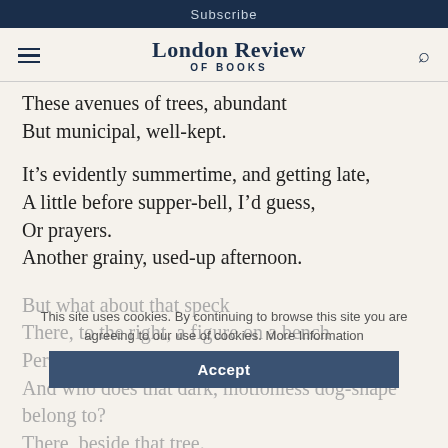Subscribe
London Review OF BOOKS
These avenues of trees, abundant
But municipal, well-kept.
It’s evidently summertime, and getting late,
A little before supper-bell, I’d guess,
Or prayers.
Another grainy, used-up afternoon.
But what about that speck
There, to the right, a figure on a bench
Perhaps, not looking and yet looking?
And who does that dark, motionless dog-shape belong to?
There, beside that tree.
This site uses cookies. By continuing to browse this site you are agreeing to our use of cookies. More Information
Accept